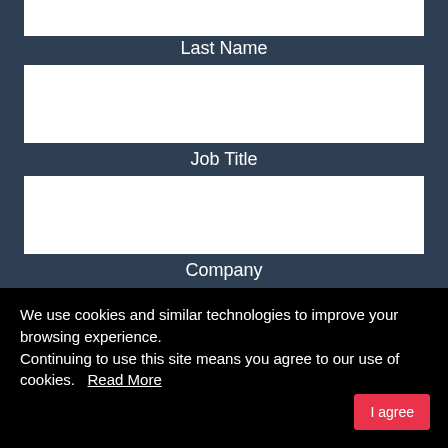[Figure (screenshot): Partial form input field at top (First Name input, cropped)]
Last Name
[Figure (screenshot): Last Name input field (empty white text box)]
Job Title
[Figure (screenshot): Job Title input field (empty white text box)]
Company
[Figure (screenshot): Company input field (empty white text box)]
Department
We use cookies and similar technologies to improve your browsing experience.
Continuing to use this site means you agree to our use of cookies.    Read More